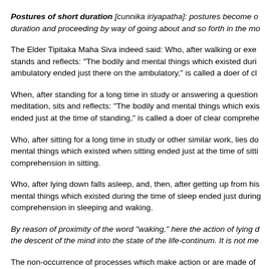Postures of short duration [cunnika iriyapatha]: postures become of short duration and proceeding by way of going about and so forth in the mo…
The Elder Tipitaka Maha Siva indeed said: Who, after walking or exe… stands and reflects: "The bodily and mental things which existed duri… ambulatory ended just there on the ambulatory," is called a doer of cl…
When, after standing for a long time in study or answering a question… meditation, sits and reflects: "The bodily and mental things which exis… ended just at the time of standing," is called a doer of clear comprehe…
Who, after sitting for a long time in study or other similar work, lies do… mental things which existed when sitting ended just at the time of sitti… comprehension in sitting.
Who, after lying down falls asleep, and, then, after getting up from his… mental things which existed during the time of sleep ended just during… comprehension in sleeping and waking.
By reason of proximity of the word "waking," here the action of lying d… the descent of the mind into the state of the life-continum. It is not me…
The non-occurrence of processes which make action or are made of…